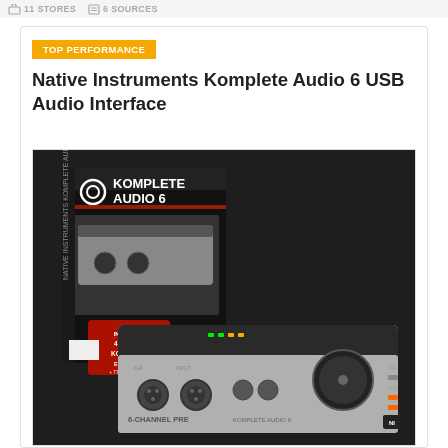11 STORES  6 SOURCES
TOP PERFORMANCE
Native Instruments Komplete Audio 6 USB Audio Interface
[Figure (photo): Product photo of Native Instruments Komplete Audio 6 USB Audio Interface showing the retail box and the audio interface device. Box is black with white text reading KOMPLETE AUDIO 6 and shows a red badge. The device itself is silver/black with XLR inputs, knobs, and LED indicators. Label at bottom reads 6-CHANNEL PRE and KOMPLETE AUDIO 6.]